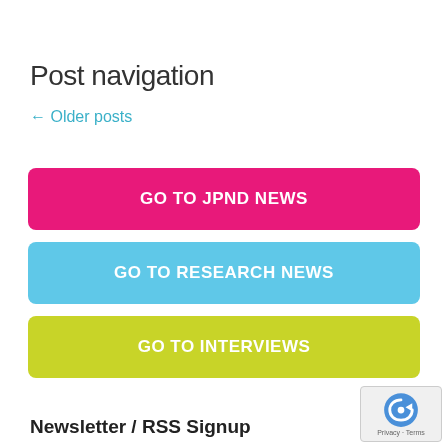Post navigation
← Older posts
[Figure (other): Pink button labeled GO TO JPND NEWS]
[Figure (other): Blue button labeled GO TO RESEARCH NEWS]
[Figure (other): Yellow-green button labeled GO TO INTERVIEWS]
Newsletter / RSS Signup